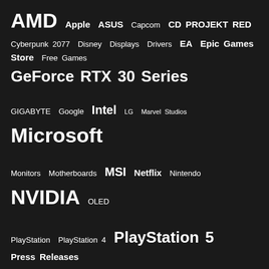[Figure (infographic): Tag cloud listing technology brands and products with varying font sizes indicating relative popularity or frequency: AMD, Apple, ASUS, Capcom, CD PROJEKT RED, Cyberpunk 2077, Disney, Displays, Drivers, EA, Epic Games Store, Free Games, GeForce RTX 30 Series, GIGABYTE, Google, Intel, LG, Marvel Studios, Microsoft, Monitors, Motherboards, MSI, Netflix, Nintendo, NVIDIA, OLED, PlayStation, PlayStation 4, PlayStation 5, Press Releases, Radeon, Radeon RX 6000 Series, Ryzen, Samsung, Sony, Square Enix, Star Wars, Steam, Ubisoft, Valve, Warner Bros., Xbox, Xbox Game Pass, Xbox Series S, Xbox Series X]
[Figure (logo): The FPS Review logo — text reading THE FPS REVIEW with a stylized speedometer/gauge graphic in grey and orange]